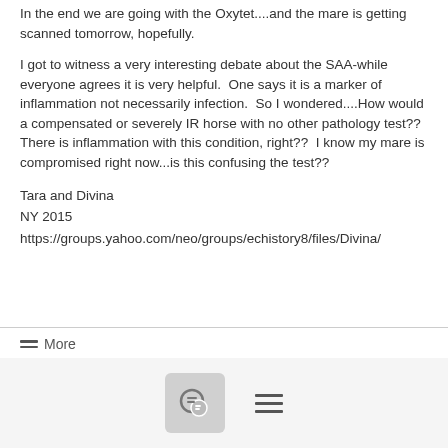In the end we are going with the Oxytet....and the mare is getting scanned tomorrow, hopefully.
I got to witness a very interesting debate about the SAA-while everyone agrees it is very helpful.  One says it is a marker of inflammation not necessarily infection.  So I wondered....How would a compensated or severely IR horse with no other pathology test??  There is inflammation with this condition, right??  I know my mare is compromised right now...is this confusing the test??
Tara and Divina
NY 2015
https://groups.yahoo.com/neo/groups/echistory8/files/Divina/
More